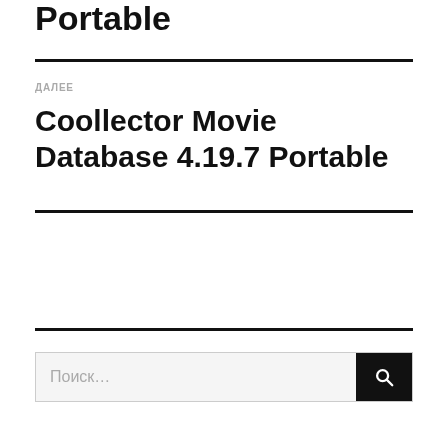Portable
ДАЛЕЕ
Coollector Movie Database 4.19.7 Portable
Поиск…